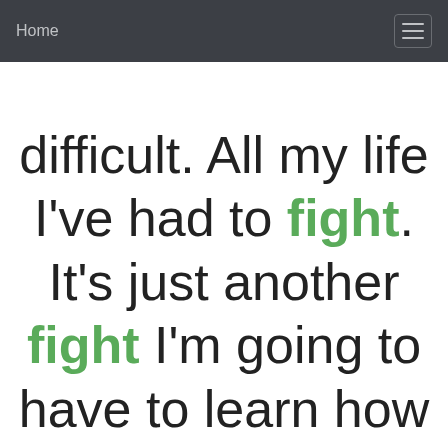Home
difficult. All my life I've had to fight. It's just another fight I'm going to have to learn how to win, that's all. I'm just